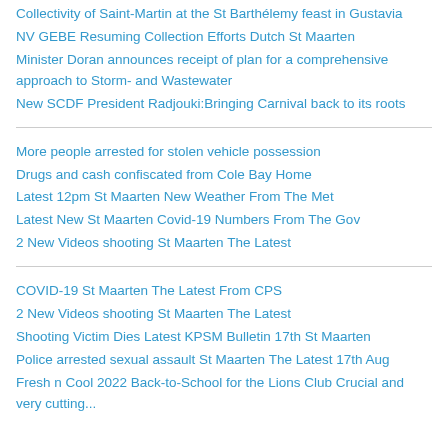Collectivity of Saint-Martin at the St Barthélemy feast in Gustavia
NV GEBE Resuming Collection Efforts Dutch St Maarten
Minister Doran announces receipt of plan for a comprehensive approach to Storm- and Wastewater
New SCDF President Radjouki:Bringing Carnival back to its roots
More people arrested for stolen vehicle possession
Drugs and cash confiscated from Cole Bay Home
Latest 12pm St Maarten New Weather From The Met
Latest New St Maarten Covid-19 Numbers From The Gov
2 New Videos shooting St Maarten The Latest
COVID-19 St Maarten The Latest From CPS
2 New Videos shooting St Maarten The Latest
Shooting Victim Dies Latest KPSM Bulletin 17th St Maarten
Police arrested sexual assault St Maarten The Latest 17th Aug
Fresh n Cool 2022 Back-to-School for the Lions Club Crucial and very cutting...